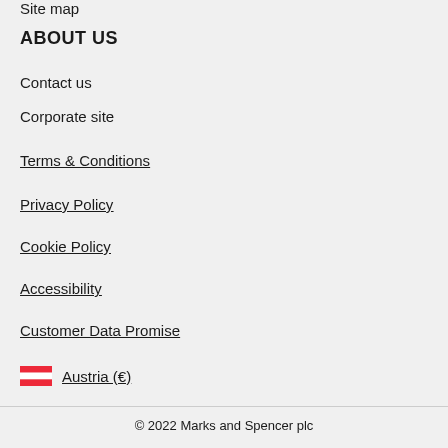Site map
ABOUT US
Contact us
Corporate site
Terms & Conditions
Privacy Policy
Cookie Policy
Accessibility
Customer Data Promise
Austria (€)
© 2022 Marks and Spencer plc